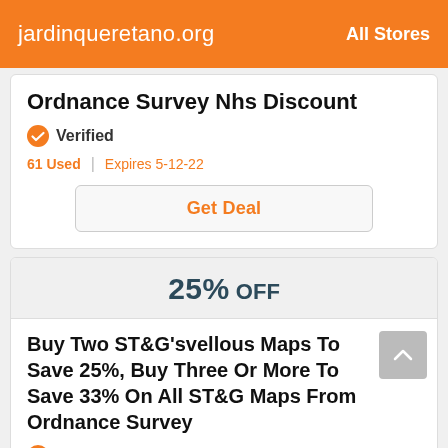jardinqueretano.org   All Stores
Ordnance Survey Nhs Discount
Verified
61 Used | Expires 5-12-22
Get Deal
25% OFF
Buy Two ST&G'svellous Maps To Save 25%, Buy Three Or More To Save 33% On All ST&G Maps From Ordnance Survey
Verified